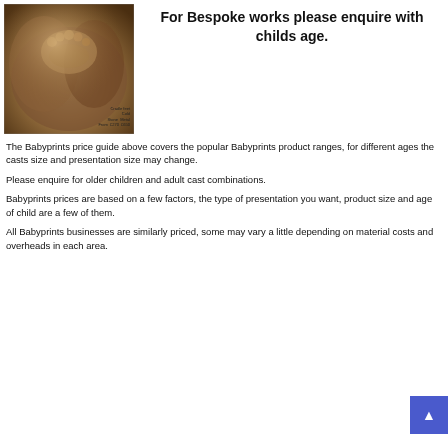[Figure (photo): Bronze/cold metal cast of baby feet cradled in adult hands, with a label showing 'Cradle feet / Cold Stone Metal / From: £270 | £650']
For Bespoke works please enquire with childs age.
The Babyprints price guide above covers the popular Babyprints product ranges, for different ages the casts size and presentation size may change.
Please enquire for older children and adult cast combinations.
Babyprints prices are based on a few factors, the type of presentation you want, product size and age of child are a few of them.
All Babyprints businesses are similarly priced, some may vary a little depending on material costs and overheads in each area.